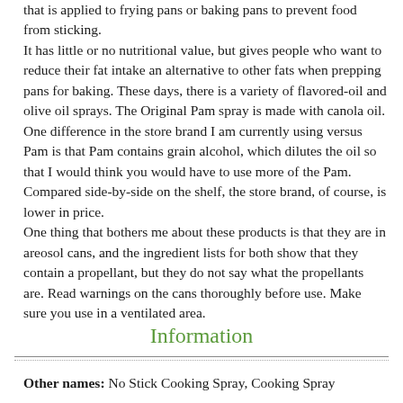that is applied to frying pans or baking pans to prevent food from sticking. It has little or no nutritional value, but gives people who want to reduce their fat intake an alternative to other fats when prepping pans for baking. These days, there is a variety of flavored-oil and olive oil sprays. The Original Pam spray is made with canola oil. One difference in the store brand I am currently using versus Pam is that Pam contains grain alcohol, which dilutes the oil so that I would think you would have to use more of the Pam. Compared side-by-side on the shelf, the store brand, of course, is lower in price. One thing that bothers me about these products is that they are in areosol cans, and the ingredient lists for both show that they contain a propellant, but they do not say what the propellants are. Read warnings on the cans thoroughly before use. Make sure you use in a ventilated area.
Information
Other names: No Stick Cooking Spray, Cooking Spray